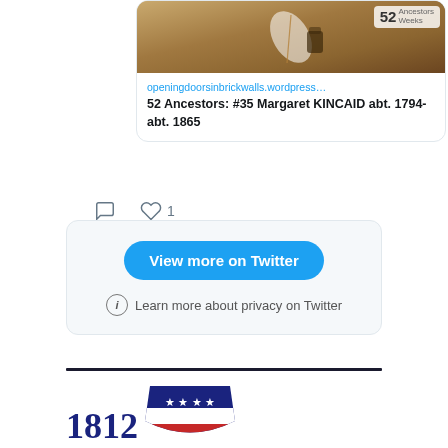[Figure (screenshot): Twitter/social media embed card showing a link to a WordPress blog post about '52 Ancestors: #35 Margaret KINCAID abt. 1794-abt. 1865' with a background image of a quill pen and map with a '52 Ancestors Weeks' badge]
openingdoorsinbrickwalls.wordpress…
52 Ancestors: #35 Margaret KINCAID abt. 1794-abt. 1865
[Figure (screenshot): Social media interaction buttons showing comment icon, heart icon with count 1]
View more on Twitter
Learn more about privacy on Twitter
[Figure (logo): 1812 logo with dark blue text '1812' and a shield/banner graphic with stars and stripes in red, white, and blue]